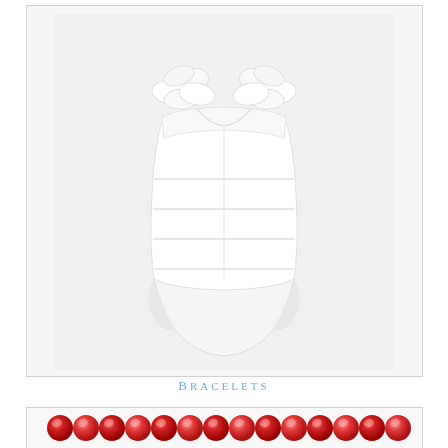[Figure (photo): White one-piece swimsuit with ruffled shoulder straps, displayed flat on a light gray background inside a rectangular border]
Bracelets
[Figure (photo): Red faceted bead bracelet displayed horizontally on a white background inside a rectangular border]